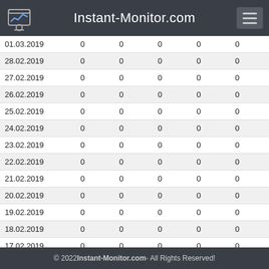Instant-Monitor.com
| Date |  |  |  |  |  |
| --- | --- | --- | --- | --- | --- |
| 01.03.2019 | 0 | 0 | 0 | 0 | 0 |
| 28.02.2019 | 0 | 0 | 0 | 0 | 0 |
| 27.02.2019 | 0 | 0 | 0 | 0 | 0 |
| 26.02.2019 | 0 | 0 | 0 | 0 | 0 |
| 25.02.2019 | 0 | 0 | 0 | 0 | 0 |
| 24.02.2019 | 0 | 0 | 0 | 0 | 0 |
| 23.02.2019 | 0 | 0 | 0 | 0 | 0 |
| 22.02.2019 | 0 | 0 | 0 | 0 | 0 |
| 21.02.2019 | 0 | 0 | 0 | 0 | 0 |
| 20.02.2019 | 0 | 0 | 0 | 0 | 0 |
| 19.02.2019 | 0 | 0 | 0 | 0 | 0 |
| 18.02.2019 | 0 | 0 | 0 | 0 | 0 |
| 17.02.2019 | 0 | 0 | 0 | 0 | 0 |
| 16.02.2019 | 0 | 0 | 0 | 0 | 0 |
| 15.02.2019 | 0 | 0 | 0 | 0 | 0 |
| 14.02.2019 | 0 | 0 | 0 | 0 | 0 |
© 2022 Instant-Monitor.com - All Rights Reserved!